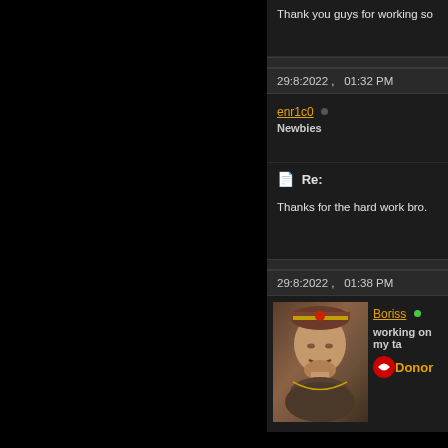Thank you guys for working so
29:8:2022 ,   01:32 PM
enr1c0 • Newbies
Re:
Thanks for the hard work bro.
29:8:2022 ,   01:38 PM
[Figure (photo): User avatar showing a portrait of a historical figure wearing a jeweled crown/hat]
Boriss • working on my ta... Donor